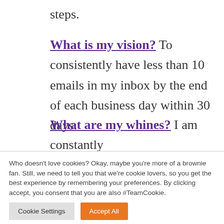steps.
What is my vision? To consistently have less than 10 emails in my inbox by the end of each business day within 30 days.
What are my whines? I am constantly
Who doesn't love cookies? Okay, maybe you're more of a brownie fan. Still, we need to tell you that we're cookie lovers, so you get the best experience by remembering your preferences. By clicking accept, you consent that you are also #TeamCookie.
Cookie Settings | Accept All